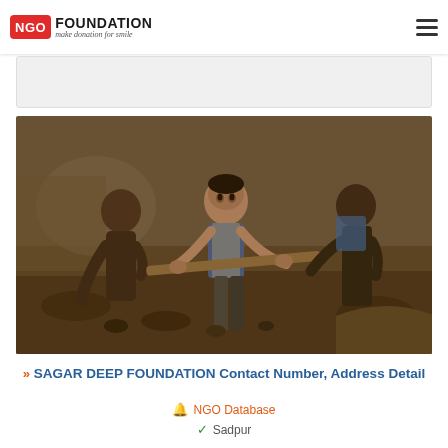NGO FOUNDATION - make donation for smile
[Figure (photo): Three children engaged in manual labor outdoors, one young boy in the center pulling a heavy wooden pole, working at a construction or labor site.]
SAGAR DEEP FOUNDATION Contact Number, Address Detail
NGO Database
Sadpur